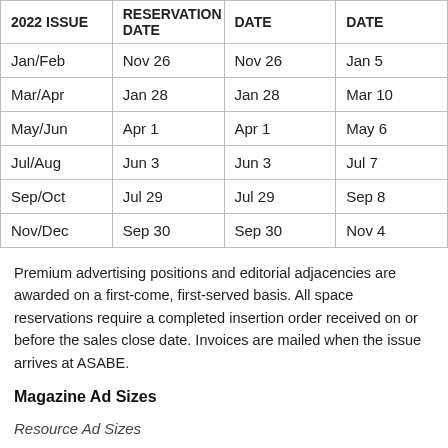| 2022 ISSUE | RESERVATION DATE | DATE | DATE |
| --- | --- | --- | --- |
| Jan/Feb | Nov 26 | Nov 26 | Jan 5 |
| Mar/Apr | Jan 28 | Jan 28 | Mar 10 |
| May/Jun | Apr 1 | Apr 1 | May 6 |
| Jul/Aug | Jun 3 | Jun 3 | Jul 7 |
| Sep/Oct | Jul 29 | Jul 29 | Sep 8 |
| Nov/Dec | Sep 30 | Sep 30 | Nov 4 |
Premium advertising positions and editorial adjacencies are awarded on a first-come, first-served basis. All space reservations require a completed insertion order received on or before the sales close date. Invoices are mailed when the issue arrives at ASABE.
Magazine Ad Sizes
Resource Ad Sizes